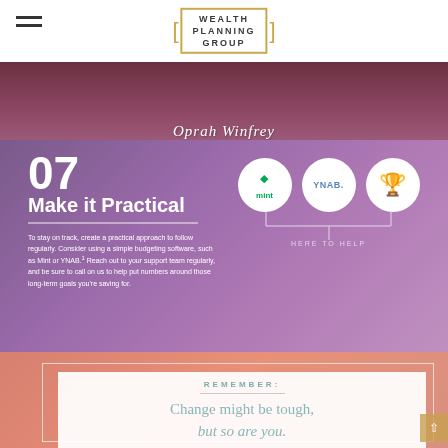WEALTH PLANNING GROUP
[Figure (illustration): Oprah Winfrey cursive text over dark rose/burgundy floral background banner]
07 Make it Practical
To stay on track, create a practical approach to follow regularly. Consider using a simple budgeting software, such as Mint or YNAB.1 Reach out to your support team regularly, and be sure to call on us to help put numbers around those long-term goals you're saving for.
[Figure (illustration): Three circular icons: Mint logo, YNAB logo, trophy icon, connected with bracket line labeled HERE TO HELP]
REMEMBER:
Change might be tough, but so are you.